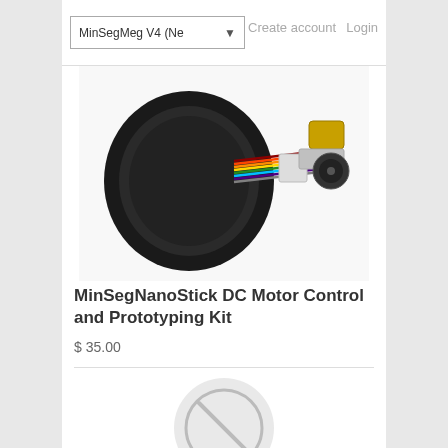MinSegMeg V4 (Ne…
Create account   Login
[Figure (photo): Photo of a MinSegNanoStick DC Motor Control and Prototyping Kit showing a black rubber wheel with colorful wires and a small motor with encoder]
MinSegNanoStick DC Motor Control and Prototyping Kit
$ 35.00
[Figure (photo): Partial product image at bottom showing a circular no-image placeholder icon]